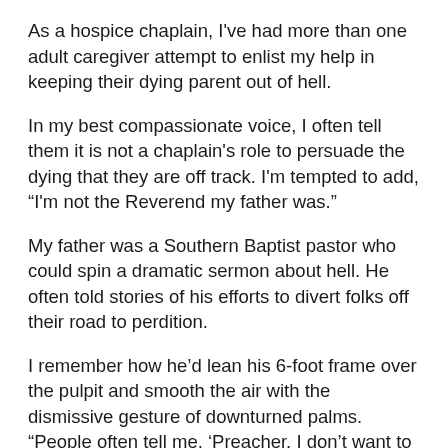As a hospice chaplain, I've had more than one adult caregiver attempt to enlist my help in keeping their dying parent out of hell.
In my best compassionate voice, I often tell them it is not a chaplain's role to persuade the dying that they are off track. I'm tempted to add, “I'm not the Reverend my father was.”
My father was a Southern Baptist pastor who could spin a dramatic sermon about hell. He often told stories of his efforts to divert folks off their road to perdition.
I remember how he’d lean his 6-foot frame over the pulpit and smooth the air with the dismissive gesture of downturned palms. “People often tell me, ‘Preacher, I don’t want to go to heaven. I want to go ‘to hell with my friends.’” (Hence my headline)
My father paused, cuing his congregation with a headshake, as if to say, “That ain’t gonna happen.” Mumbles from his parishioners told him they were